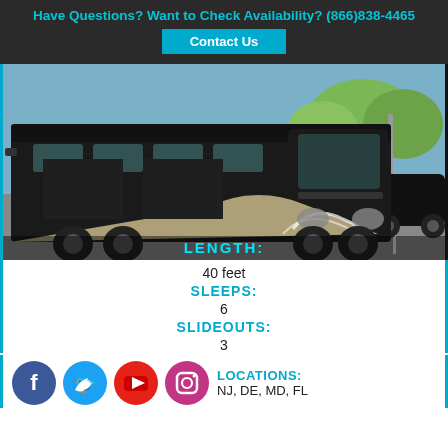Have Questions? Want to Check Availability? (866)838-4465
Contact Us
[Figure (photo): Large black luxury motorhome/RV parked in a lot, photographed from the front-left angle showing the full length of the coach.]
LENGTH:
40 feet
SLEEPS:
6
SLIDEOUTS:
3
LOCATIONS:
NJ, DE, MD, FL